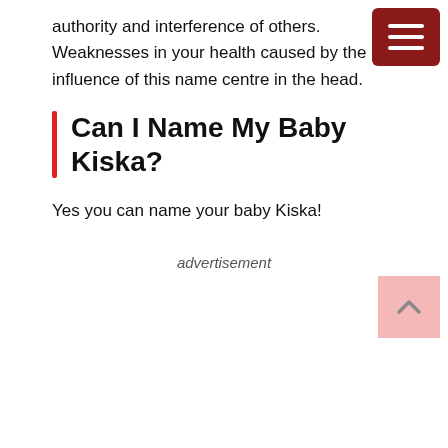authority and interference of others. Weaknesses in your health caused by the influence of this name centre in the head.
Can I Name My Baby Kiska?
Yes you can name your baby Kiska!
advertisement